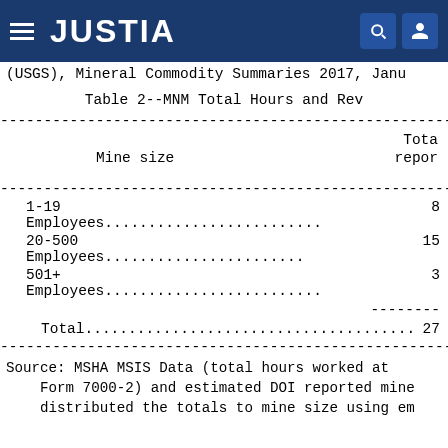JUSTIA
(USGS), Mineral Commodity Summaries 2017, Janu
Table 2--MNM Total Hours and Rev
| Mine size | Tota repo |
| --- | --- |
| 1-19 Employees..................... | 8 |
| 20-500 Employees................... | 15 |
| 501+ Employees..................... | 3 |
| Total.............................. | 27 |
Source: MSHA MSIS Data (total hours worked at Form 7000-2) and estimated DOI reported mine distributed the totals to mine size using em